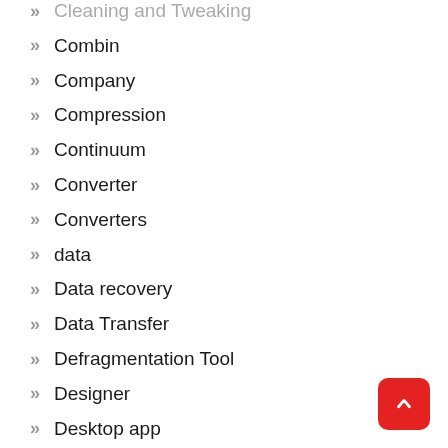Cleaning and Tweaking
Combin
Company
Compression
Continuum
Converter
Converters
data
Data recovery
Data Transfer
Defragmentation Tool
Designer
Desktop app